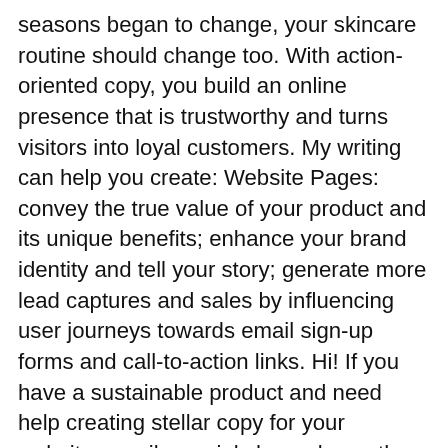seasons began to change, your skincare routine should change too. With action-oriented copy, you build an online presence that is trustworthy and turns visitors into loyal customers. My writing can help you create: Website Pages: convey the true value of your product and its unique benefits; enhance your brand identity and tell your story; generate more lead captures and sales by influencing user journeys towards email sign-up forms and call-to-action links. Hi! If you have a sustainable product and need help creating stellar copy for your website, emails, social channels or other marketing media I would like to hear from you! After I've spent so much time and money supporting companies who only care about turning a profit? But you're doing amazing things, and your voice deserves to be heard. Your success is my success and that is why I write with intention. Because lucky for us: Times are changing. What are your current strategies? Immediately, I felt totally overwhelmed. Consumers are reacting. Here you'll find the ultimate tips to switch your skincare routine for colder weather. Content with purpose. I'm a freelance ethical fashion writer and digital marketer based in Edinburgh. Fair labor and fair trade around the world, Ethical business processes — all day every day.